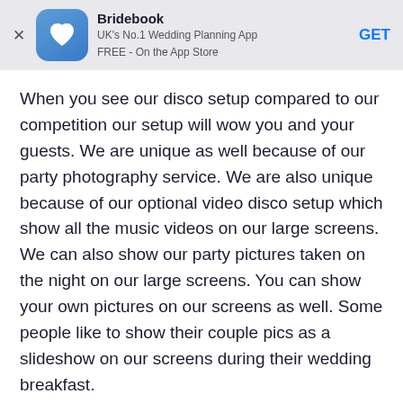[Figure (other): Bridebook app store banner with logo, title 'Bridebook', subtitle 'UK's No.1 Wedding Planning App FREE - On the App Store', and GET button]
When you see our disco setup compared to our competition our setup will wow you and your guests. We are unique as well because of our party photography service. We are also unique because of our optional video disco setup which show all the music videos on our large screens. We can also show our party pictures taken on the night on our large screens. You can show your own pictures on our screens as well. Some people like to show their couple pics as a slideshow on our screens during their wedding breakfast.
What is your No. 1 wedding planning tip for couples?
You could have the best of everything, but if you don't...